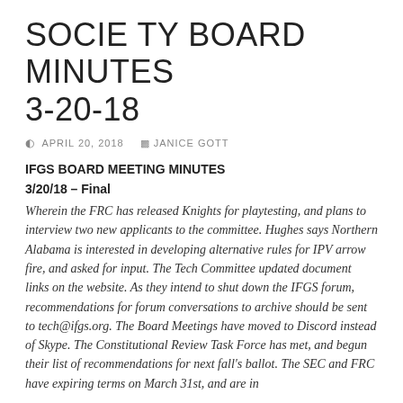SOCIETY BOARD MINUTES 3-20-18
APRIL 20, 2018   JANICE GOTT
IFGS BOARD MEETING MINUTES
3/20/18 – Final
Wherein the FRC has released Knights for playtesting, and plans to interview two new applicants to the committee. Hughes says Northern Alabama is interested in developing alternative rules for IPV arrow fire, and asked for input. The Tech Committee updated document links on the website. As they intend to shut down the IFGS forum, recommendations for forum conversations to archive should be sent to tech@ifgs.org. The Board Meetings have moved to Discord instead of Skype. The Constitutional Review Task Force has met, and begun their list of recommendations for next fall's ballot. The SEC and FRC have expiring terms on March 31st, and are in